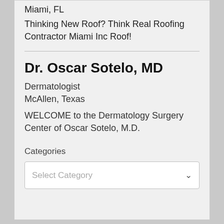Miami, FL
Thinking New Roof? Think Real Roofing Contractor Miami Inc Roof!
Dr. Oscar Sotelo, MD
Dermatologist
McAllen, Texas
WELCOME to the Dermatology Surgery Center of Oscar Sotelo, M.D.
Categories
Select Category